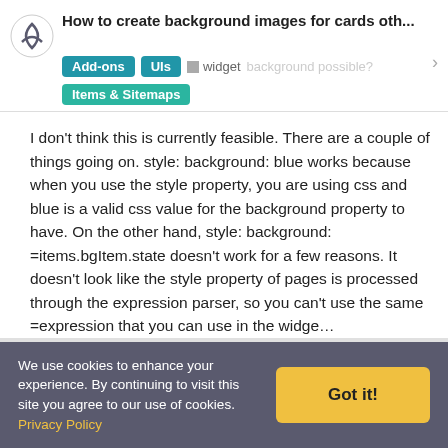How to create background images for cards oth...
I don't think this is currently feasible. There are a couple of things going on. style: background: blue works because when you use the style property, you are using css and blue is a valid css value for the background property to have. On the other hand, style: background: =items.bgItem.state doesn't work for a few reasons. It doesn't look like the style property of pages is processed through the expression parser, so you can't use the same =expression that you can use in the widge…
We use cookies to enhance your experience. By continuing to visit this site you agree to our use of cookies. Privacy Policy